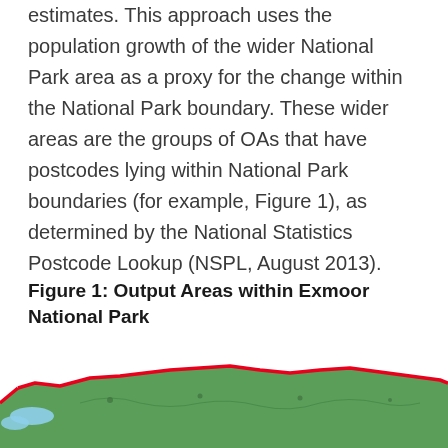estimates. This approach uses the population growth of the wider National Park area as a proxy for the change within the National Park boundary. These wider areas are the groups of OAs that have postcodes lying within National Park boundaries (for example, Figure 1), as determined by the National Statistics Postcode Lookup (NSPL, August 2013).
Figure 1: Output Areas within Exmoor National Park
[Figure (map): Map showing Output Areas within Exmoor National Park. The map displays green shaded areas for OAs wholly within National Park and light blue shaded areas for OAs partly within National Park, with a red boundary outline around the National Park region.]